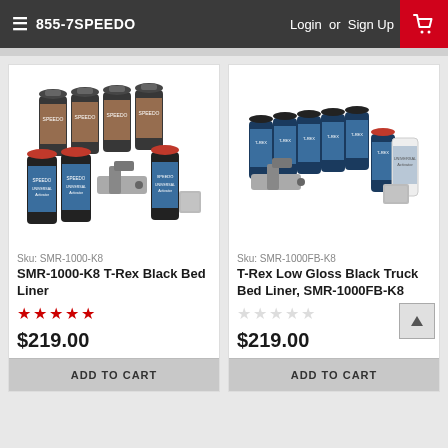855-7SPEEDO  Login or Sign Up
[Figure (photo): SMR-1000-K8 T-Rex Black Bed Liner product kit with multiple cans and spray gun]
Sku: SMR-1000-K8
SMR-1000-K8 T-Rex Black Bed Liner
★★★★★
$219.00
ADD TO CART
[Figure (photo): T-Rex Low Gloss Black Truck Bed Liner SMR-1000FB-K8 product kit with multiple cans and spray gun]
Sku: SMR-1000FB-K8
T-Rex Low Gloss Black Truck Bed Liner, SMR-1000FB-K8
☆☆☆☆☆
$219.00
ADD TO CART